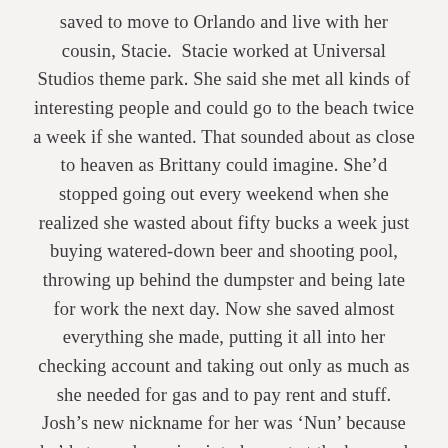saved to move to Orlando and live with her cousin, Stacie.  Stacie worked at Universal Studios theme park. She said she met all kinds of interesting people and could go to the beach twice a week if she wanted. That sounded about as close to heaven as Brittany could imagine. She'd stopped going out every weekend when she realized she wasted about fifty bucks a week just buying watered-down beer and shooting pool, throwing up behind the dumpster and being late for work the next day. Now she saved almost everything she made, putting it all into her checking account and taking out only as much as she needed for gas and to pay rent and stuff. Josh's new nickname for her was 'Nun' because he'd stopped running into her out at the bars and